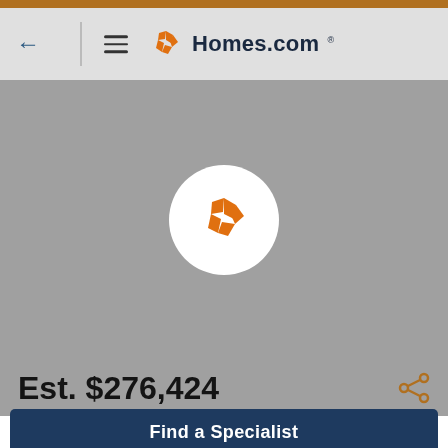Homes.com
[Figure (screenshot): Gray map area with Homes.com logo pin marker in the center on a white circle]
Est. $276,424
Find a Specialist